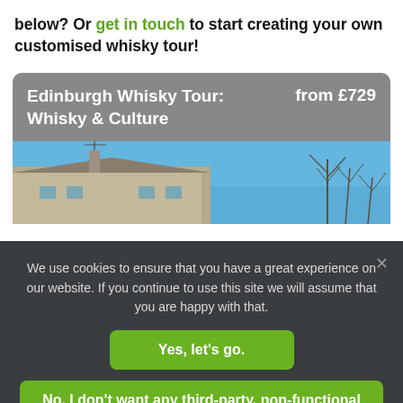below? Or get in touch to start creating your own customised whisky tour!
Edinburgh Whisky Tour: Whisky & Culture    from £729
[Figure (photo): Photo of Edinburgh rooftops and buildings against a blue sky with bare trees visible on the right]
We use cookies to ensure that you have a great experience on our website. If you continue to use this site we will assume that you are happy with that.
Yes, let's go.
No, I don't want any third-party, non-functional cookies.
Privacy policy